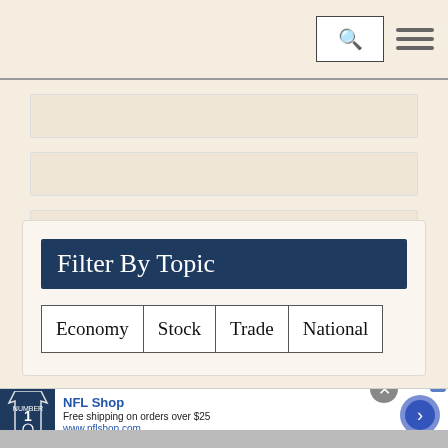Navigation bar with search and menu icons
[Figure (screenshot): Three empty placeholder content bars]
Filter By Topic
Economy
Stock
Trade
National
[Figure (screenshot): NFL Shop advertisement banner with jersey image, NFL Shop title, Free shipping on orders over $25, www.nflshop.com, and a blue arrow CTA button]